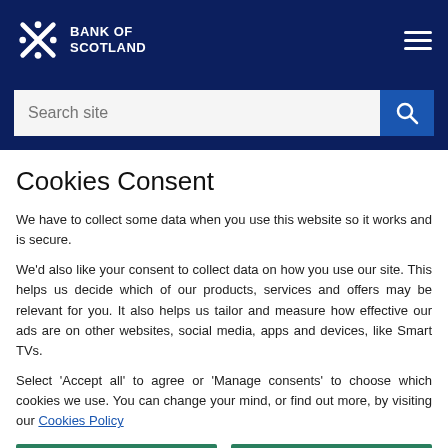BANK OF SCOTLAND
Cookies Consent
We have to collect some data when you use this website so it works and is secure.
We'd also like your consent to collect data on how you use our site. This helps us decide which of our products, services and offers may be relevant for you. It also helps us tailor and measure how effective our ads are on other websites, social media, apps and devices, like Smart TVs.
Select 'Accept all' to agree or 'Manage consents' to choose which cookies we use. You can change your mind, or find out more, by visiting our Cookies Policy
Accept all
Manage consents